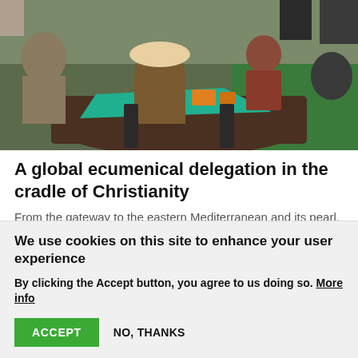[Figure (photo): People sitting around a table engaged in an activity, appears to be children and adults in an outdoor or semi-outdoor setting with green backdrop.]
A global ecumenical delegation in the cradle of Christianity
From the gateway to the eastern Mediterranean and its pearl, Beirut, an ecumenical delegation came to the Middle East in order to visit spiritual leaders who historically constituted the pillars of ecumenical work.
We use cookies on this site to enhance your user experience
By clicking the Accept button, you agree to us doing so. More info
ACCEPT
NO, THANKS